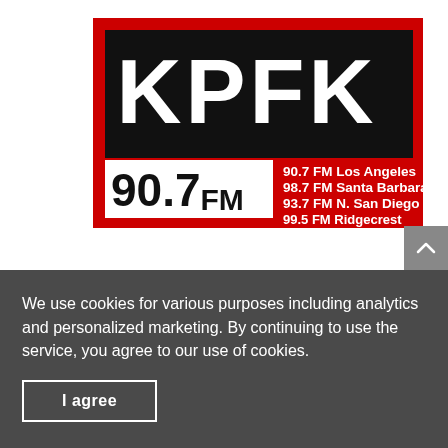[Figure (logo): KPFK 90.7 FM radio station logo. Red background with black center panel showing 'KPFK' in large white bold letters. Lower left has a white rectangle with '90.7FM' in black. Lower right lists frequencies: 90.7 FM Los Angeles, 98.7 FM Santa Barbara, 93.7 FM N. San Diego, 99.5 FM Ridgecrest in white text on red.]
We use cookies for various purposes including analytics and personalized marketing. By continuing to use the service, you agree to our use of cookies.
I agree